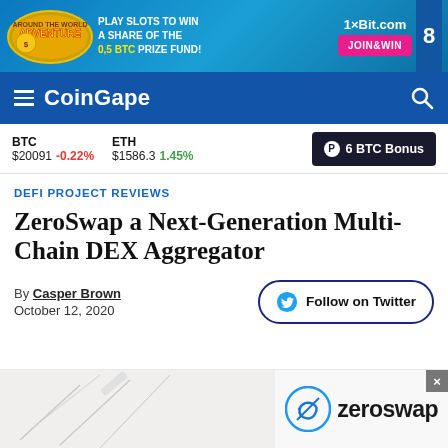[Figure (screenshot): 1xBit.com advertisement banner with Around the World Adventure slot game, Play Slots to Win a Share of the 0,5 BTC Prize Fund!, JOIN&WIN button]
CoinGape
BTC $20091 -0.22%   ETH $1586.3 1.45%   6 BTC Bonus
DEFI PROJECT REVIEWS
ZeroSwap a Next-Generation Multi-Chain DEX Aggregator
By Casper Brown
October 12, 2020
Follow on Twitter
[Figure (logo): ZeroSwap logo with circular checkmark icon and zeroswap text]